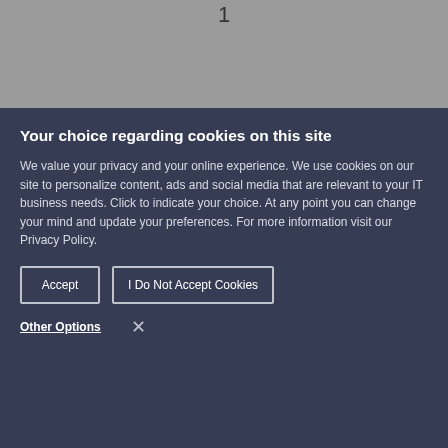[Figure (screenshot): Grey background area at top of page with a small '1' numeral visible at top center]
Your choice regarding cookies on this site
We value your privacy and your online experience. We use cookies on our site to personalize content, ads and social media that are relevant to your IT business needs. Click to indicate your choice. At any point you can change your mind and update your preferences. For more information visit our Privacy Policy.
Accept
I Do Not Accept Cookies
Other Options
×